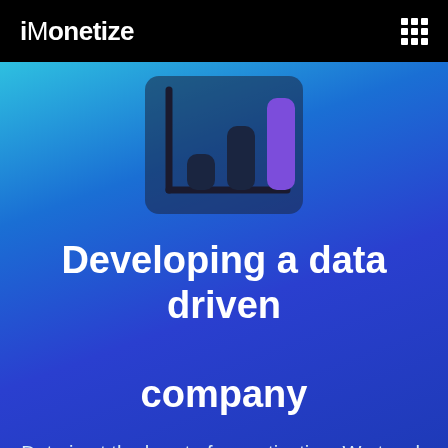iMonetize
[Figure (illustration): Bar chart icon with three rounded bars (dark bar, medium dark bar, purple/violet bar) on a dark background with L-shaped axis lines]
Developing a data driven company
Data is at the heart of monetization. We teach you how to grow a company that focuses on data. By sharing how top in class